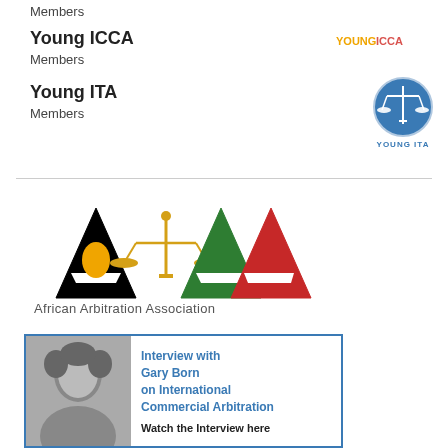Members
Young ICCA
Members
[Figure (logo): Young ICCA logo text in orange and red]
Young ITA
Members
[Figure (logo): Young ITA circular logo with scales of justice, blue circle, white scales icon, YOUNG ITA text below]
[Figure (logo): African Arbitration Association logo with colorful A-A-A letters in black, green, red and gold scales, with text 'African Arbitration Association']
[Figure (infographic): Interview with Gary Born on International Commercial Arbitration - Watch the Interview here. Blue bordered box with black and white photo of Gary Born on left.]
[Figure (infographic): Learn More - blue bordered box with green 'Learn More' text and partial photo of a woman]